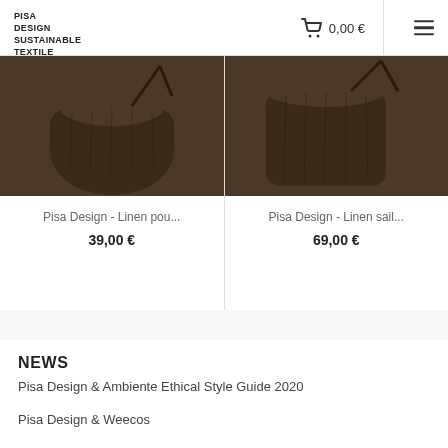PISA DESIGN SUSTAINABLE TEXTILE | 0,00 €
[Figure (photo): Two dark brown linen bags/pouches shown from above on a white background, cropped at top]
Pisa Design - Linen pou...
39,00 €
Pisa Design - Linen sail...
69,00 €
NEWS
Pisa Design & Ambiente Ethical Style Guide 2020
Pisa Design & Weecos